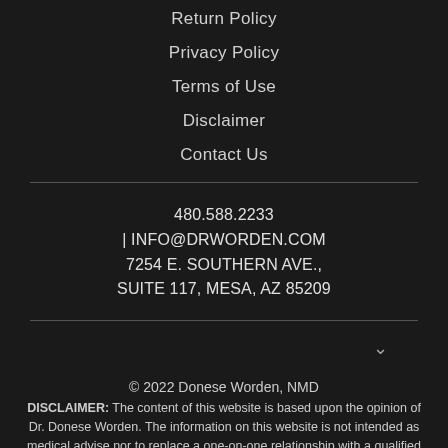Return Policy
Privacy Policy
Terms of Use
Disclaimer
Contact Us
480.588.2233 | INFO@DRWORDEN.COM 7254 E. SOUTHERN AVE., SUITE 117, MESA, AZ 85209
© 2022 Donese Worden, NMD DISCLAIMER: The content of this website is based upon the opinion of Dr. Donese Worden. The information on this website is not intended as medical advise nor to replace a one-on-one relationship with a qualified health care professional. Dr. Worden encourages you to